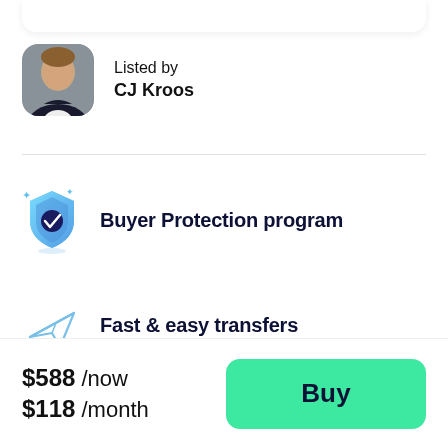[Figure (photo): Profile photo of CJ Kroos, a smiling man in a dark blazer with white shirt, rounded square avatar]
Listed by
CJ Kroos
Buyer Protection program
Fast & easy transfers
$588 /now
$118 /month
Buy